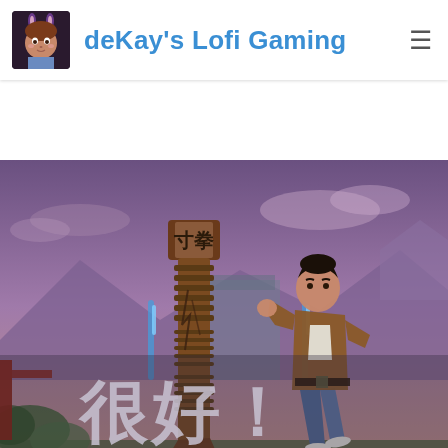deKay's Lofi Gaming
[Figure (screenshot): Screenshot from Shenmue III showing protagonist Ryo Hazuki in a fighting stance next to a wooden training post (makiwara). The screen shows Chinese characters '很好！' and beneath them 'Very Good' indicating a successful move. At the bottom left, text reads 'ne-Inch Punch 1' with a progress bar. The background shows a purple-hued dusk sky with mountains and traditional architecture.]